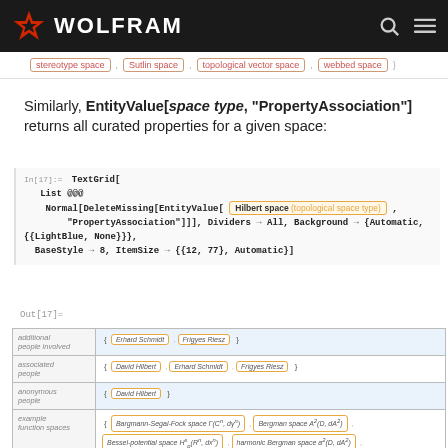WOLFRAM
stereotype space , Sutlin space , topological vector space , webbed space
Similarly, EntityValue[space type, "PropertyAssociation"] returns all curated properties for a given space:
In[17]:= TextGrid[ List @@@ Normal[DeleteMissing[EntityValue[ Hilbert space (topological space type) , "PropertyAssociation"]]], Dividers → All, Background → {Automatic, {{LightBlue, None}}}, BaseStyle → 8, ItemSize → {{12, 77}, Automatic}]
Out[17]=
| property | value |
| --- | --- |
| additional people involved | { Erhard Schmidt , Frigyes Riesz } |
| associated people | { David Hilbert , Erhard Schmidt , Frigyes Riesz } |
| anonymous people | { David Hilbert } |
| example function spaces | { Bargmann-Segal-Fock space Γ(C^n, dγ^n) , Bergman space A²(D, dA²) , Bessel-potential space H^s_p(R^n, dx^n) , harmonic Bergman space a²(D, dA²) , harmonic Hardy space H²(D) , holomorphic Hardy space H^p(D) , Lebesgue space L²(D, dλ²) , Lebesgue space L²(R^n, dx^n) , sequence space l²(Z^+) , Sobolev space W^s_p(R^n, dx^n) , weighted Bergman space A²_φ(D, dA²) } |
| references | {Gustave Choquet, Lectures on Analysis, Vol. 1: Integration and Topological Vector Spaces, New York City and Amsterdam: W. A. Benjamin, p. 20, 1969... |